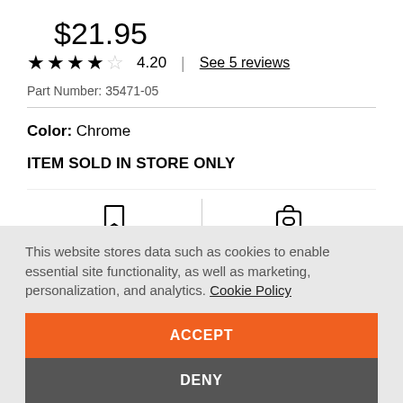$21.95
★★★★☆ 4.20 | See 5 reviews
Part Number: 35471-05
Color: Chrome
ITEM SOLD IN STORE ONLY
Add to wish list
Find in store
This website stores data such as cookies to enable essential site functionality, as well as marketing, personalization, and analytics. Cookie Policy
ACCEPT
DENY